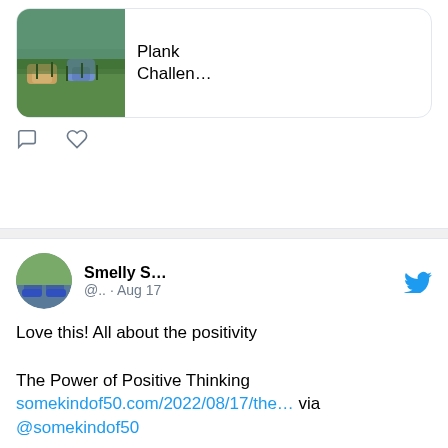[Figure (screenshot): Partial tweet card showing a link preview with image of feet/shoes on grass labeled 'Plank Challen…', with comment and heart action icons below]
Smelly S… @.. · Aug 17

Love this! All about the positivity

The Power of Positive Thinking
somekindof50.com/2022/08/17/the… via @somekindof50
[Figure (screenshot): Link preview card showing someki… / The Power … with image of a woman holding a black cat, wearing a Meow shirt]